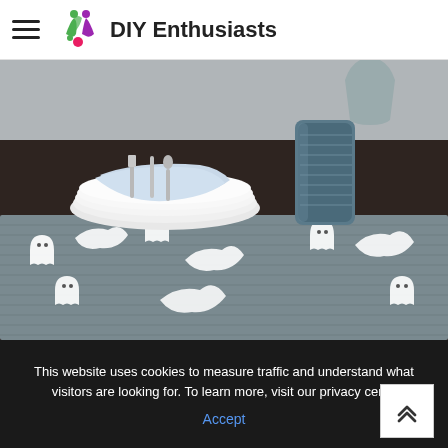DIY Enthusiasts
[Figure (photo): A table setting with stacked white plates, silverware on a light blue napkin, and a dark blue ridged glass, placed on a grey woven table runner decorated with white ghost and leaf cutouts for Halloween.]
This website uses cookies to measure traffic and understand what visitors are looking for. To learn more, visit our privacy cen...
Accept